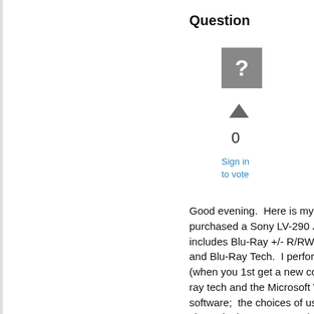Question
[Figure (illustration): Gray square icon with a white question mark representing an anonymous user avatar]
0
Sign in to vote
Good evening.  Here is my issue/problem.  I purchased a Sony LV-290 J/B in June 2009, which includes Blu-Ray +/- R/RW, which utilizes CD, DVD, and Blu-Ray Tech.  I performed the "initial back-up" (when you 1st get a new computer) by using the blu-ray tech and the Microsoft Windows One Care software;  the choices of usein the CD/DVD/BD was shown in the One Care window and I did this twice before (Jun - July 2009).  Now, I have (admittedly) slacked off through Sept. but performed my thrid back-up 10/16/09, and what I noticed was the blu-ray tech, was not recognized via